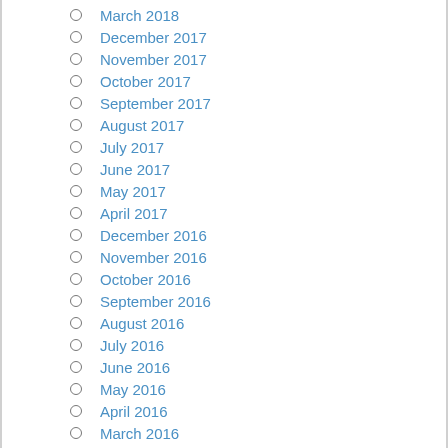March 2018
December 2017
November 2017
October 2017
September 2017
August 2017
July 2017
June 2017
May 2017
April 2017
December 2016
November 2016
October 2016
September 2016
August 2016
July 2016
June 2016
May 2016
April 2016
March 2016